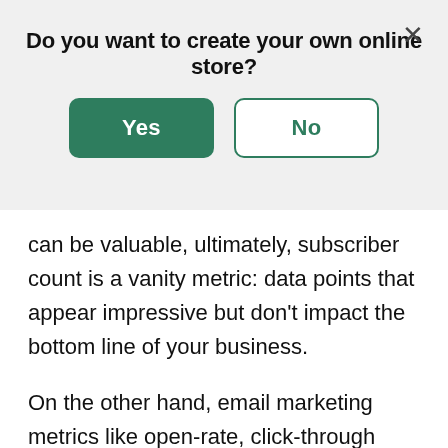Do you want to create your own online store?
can be valuable, ultimately, subscriber count is a vanity metric: data points that appear impressive but don't impact the bottom line of your business.
On the other hand, email marketing metrics like open-rate, click-through rate, and conversions are much more informative. For instance, a list of 5,000 subscribers with a click-through rate of 5% will drive more traffic to your website than a list of 10,000 subscribers with a click-through rate of 1%.